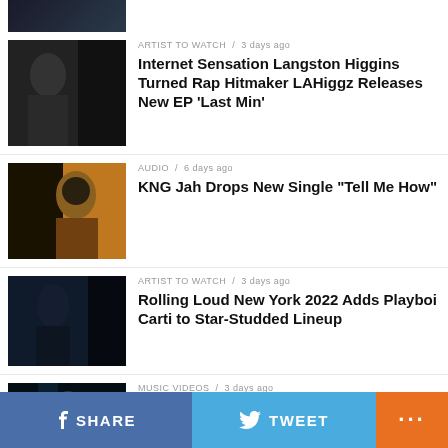[Figure (photo): Partial cropped image at top of page - dark toned photo]
ARTIST TO WATCH / 3 days ago
Internet Sensation Langston Higgins Turned Rap Hitmaker LAHiggz Releases New EP ‘Last Min’
[Figure (photo): Person in dark jacket against dark background]
AUDIO / 6 days ago
KNG Jah Drops New Single “Tell Me How”
[Figure (photo): Person with headphones against orange background]
ARTIST TO WATCH / 3 days ago
Rolling Loud New York 2022 Adds Playboi Carti to Star-Studded Lineup
[Figure (photo): Dark blue toned photo of performer]
MUSIC VIDEOS / 3 days ago
YGRIO Drops “No Promises”
[Figure (photo): Dark hallway with figure in blue light]
SHARE   TWEET   ...